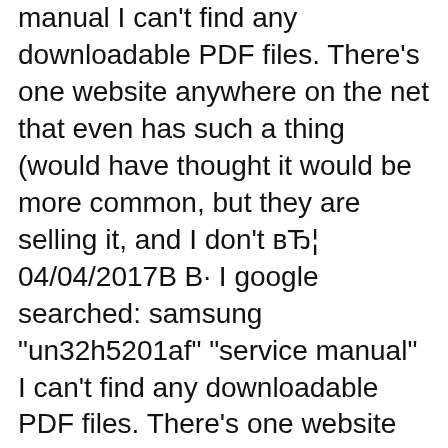manual I can't find any downloadable PDF files. There's one website anywhere on the net that even has such a thing (would have thought it would be more common, but they are selling it, and I don't вЂ¦ 04/04/2017В В· I google searched: samsung "un32h5201af" "service manual" I can't find any downloadable PDF files. There's one website anywhere on the net that even has such a thing (would have thought it would be more common, but they are selling it, and I don't вЂ¦
Samsung Service Menu. You can use the Samsung service menu, for such things as resetting the digital tuner, a total factory reset and enabling/disabling